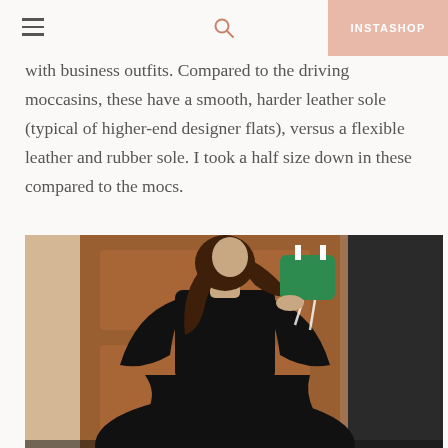INSTASHOP
with business outfits. Compared to the driving moccasins, these have a smooth, harder leather sole (typical of higher-end designer flats), versus a flexible leather and rubber sole. I took a half size down in these compared to the mocs.
[Figure (photo): Woman in a black off-shoulder long-sleeve top and full black skirt, holding a green bag, standing in front of a wooden door.]